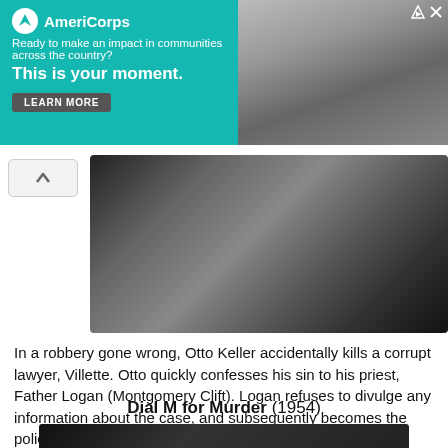[Figure (other): AmeriCorps advertisement banner with teal background, logo, text 'Ready to make an impact in communities across the country? This is your moment.' and a LEARN MORE button, with a photo of a person on the right.]
[Figure (photo): Black and white still photo of a man (likely Montgomery Clift) in a dark priest's collar, hand raised near his face, looking down.]
In a robbery gone wrong, Otto Keller accidentally kills a corrupt lawyer, Villette. Otto quickly confesses his sin to his priest, Father Logan (Montgomery Clift). Logan refuses to divulge any information about the case, and subsequently becomes the police's main suspect. Putting my favorite all-time actor, Montgomery Clift, in a Hitchcock film seemed like a genius idea. Sadly, Hitchcock loathed the Method acting style, and had difficulty working with performers like Clift who practiced it. I Confess is good enough, but this collaboration could've been explored to better results. B-
Dial M for Murder (1954)
[Figure (photo): Dark/partially visible photo at the bottom of the page for Dial M for Murder (1954).]